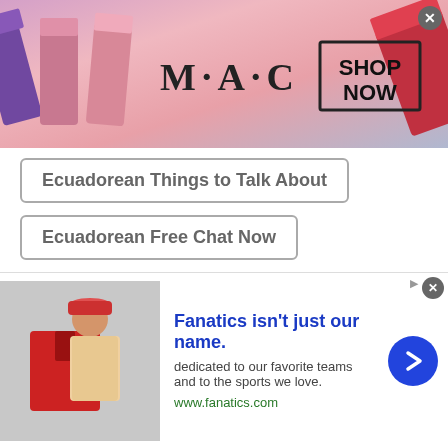[Figure (photo): MAC cosmetics advertisement banner with lipsticks and SHOP NOW button]
Ecuadorean Things to Talk About
Ecuadorean Free Chat Now
Ecuadorean Chat with Friends
Ecuadorean Talk to Me
Ecuadorean Start Chatting
Ecuadorean Talk to Strangers Online
Ecuadorean Chat USA
[Figure (photo): Fanatics advertisement: 'Fanatics isn't just our name.' with sports apparel image, www.fanatics.com]